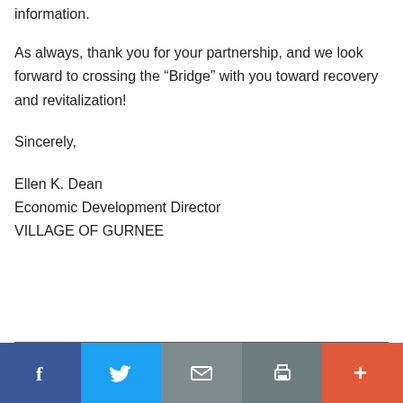information.
As always, thank you for your partnership, and we look forward to crossing the “Bridge” with you toward recovery and revitalization!
Sincerely,
Ellen K. Dean
Economic Development Director
VILLAGE OF GURNEE
Facebook Twitter Email Print More